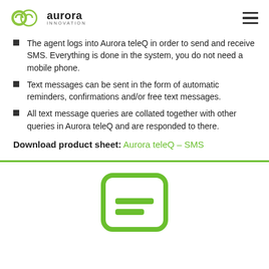Aurora Innovation
The agent logs into Aurora teleQ in order to send and receive SMS. Everything is done in the system, you do not need a mobile phone.
Text messages can be sent in the form of automatic reminders, confirmations and/or free text messages.
All text message queries are collated together with other queries in Aurora teleQ and are responded to there.
Download product sheet: Aurora teleQ – SMS
[Figure (illustration): Green rounded rectangle icon representing a document or SMS message, with two horizontal green lines inside, partially visible at bottom of page]